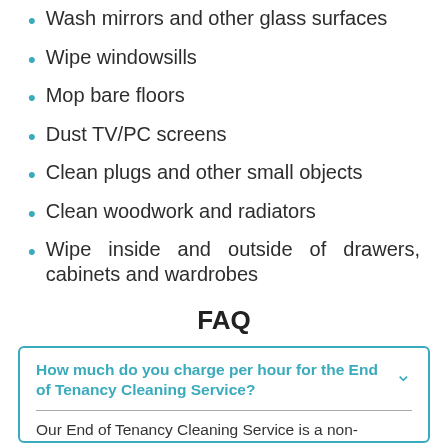Wash mirrors and other glass surfaces
Wipe windowsills
Mop bare floors
Dust TV/PC screens
Clean plugs and other small objects
Clean woodwork and radiators
Wipe inside and outside of drawers, cabinets and wardrobes
FAQ
How much do you charge per hour for the End of Tenancy Cleaning Service?
Our End of Tenancy Cleaning Service is a non-